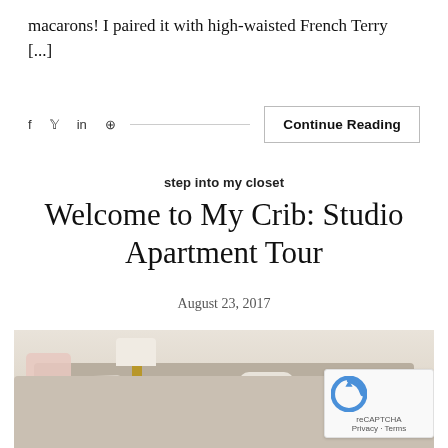macarons! I paired it with high-waisted French Terry [...]
f  y  in  ® ——————————————————  Continue Reading
step into my closet
Welcome to My Crib: Studio Apartment Tour
August 23, 2017
[Figure (photo): Interior photo of a studio apartment living area with a beige sofa, decorative cushions including a fluffy white pillow and patterned pillows, a gold lamp, and a side table in the background.]